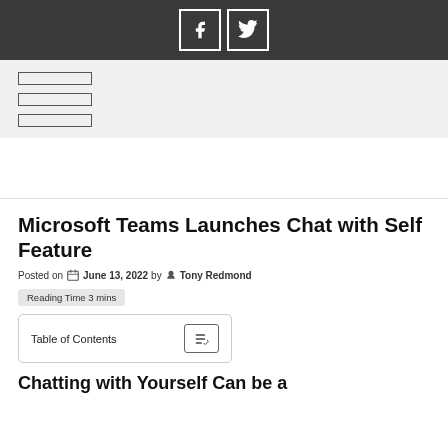[Facebook icon] [Twitter icon]
[Figure (other): Navigation menu bar with three horizontal rectangle lines indicating a hamburger menu]
Reading Time 3 mins
Microsoft Teams Launches Chat with Self Feature
Posted on June 13, 2022 by Tony Redmond
Reading Time 3 mins
Table of Contents
Chatting with Yourself Can be a